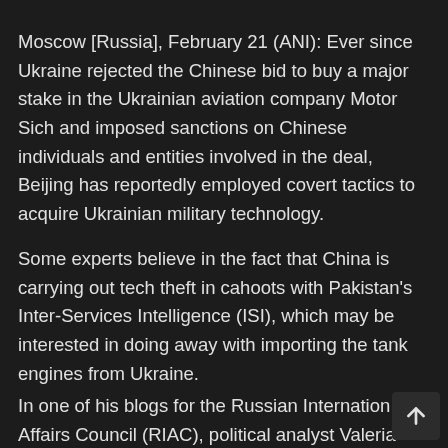Moscow [Russia], February 21 (ANI): Ever since Ukraine rejected the Chinese bid to buy a major stake in the Ukrainian aviation company Motor Sich and imposed sanctions on Chinese individuals and entities involved in the deal, Beijing has reportedly employed covert tactics to acquire Ukrainian military technology.
Some experts believe in the fact that China is carrying out tech theft in cahoots with Pakistan's Inter-Services Intelligence (ISI), which may be interested in doing away with importing the tank engines from Ukraine.
In one of his blogs for the Russian International Affairs Council (RIAC), political analyst Valeria...